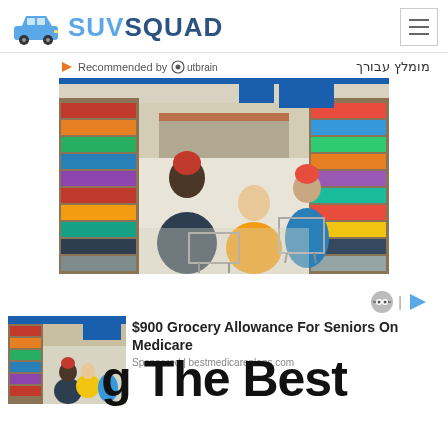SUVSQUAD
Recommended by Outbrain   מומלץ עבורך
[Figure (photo): People shopping in a large retail store (Walmart), pushing carts down the aisle, with store shelves and blue signage visible in the background.]
[Figure (photo): People shopping in a retail store, thumbnail for advertisement]
$900 Grocery Allowance For Seniors On Medicare
Sponsored | bestmedicareplans.com
g The Best